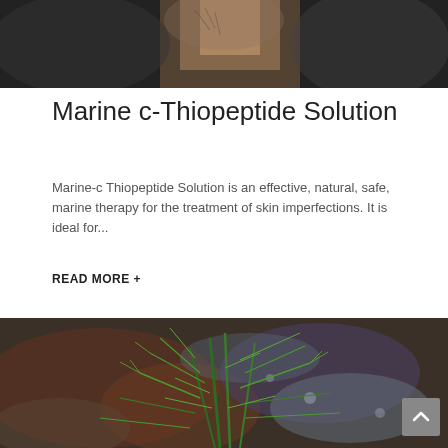[Figure (photo): Top portion of a nature/outdoor photo showing a person holding or near botanical/plant material against a dark background, partially cropped]
Marine c-Thiopeptide Solution
Marine-c Thiopeptide Solution is an effective, natural, safe, marine therapy for the treatment of skin imperfections. It is ideal for...
READ MORE +
[Figure (photo): Photo of fresh green herb (resembling dill or fennel) sprigs laid on a rustic dark stone or metal surface with rust and mineral patterns]